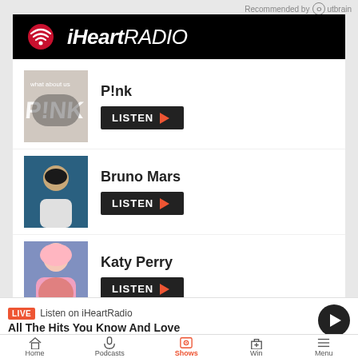[Figure (screenshot): iHeartRADIO app advertisement showing P!nk, Bruno Mars, and Katy Perry with LISTEN buttons, plus a live radio bar and bottom navigation]
Recommended by Outbrain
iHeartRADIO
P!nk
LISTEN
Bruno Mars
LISTEN
Katy Perry
LISTEN
Listen to iHeartRadio »
LIVE Listen on iHeartRadio
All The Hits You Know And Love
Home  Podcasts  Shows  Win  Menu